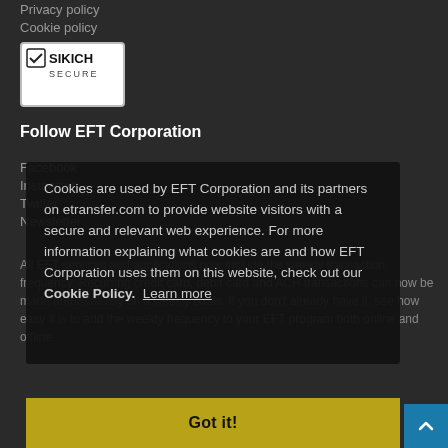Privacy policy
Cookie policy
[Figure (logo): Sikich Secure badge logo, white background with black text and checkmark symbol]
Follow EFT Corporation
Facebook
Instagram
Twitter
Newsletter
All EFT services and applications now include the weekly transaction frequency. Recurring credit card, debit card and ACH transactions can now be made automatically on a weekly basis. If you don't already have it, see how easy it is to add the weekly frequency to your EFT program both online and offline.
Cookies are used by EFT Corporation and its partners on etransfer.com to provide website visitors with a secure and relevant web experience. For more information explaining what cookies are and how EFT Corporation uses them on this website, check out our Cookie Policy.  Learn more
Got it!